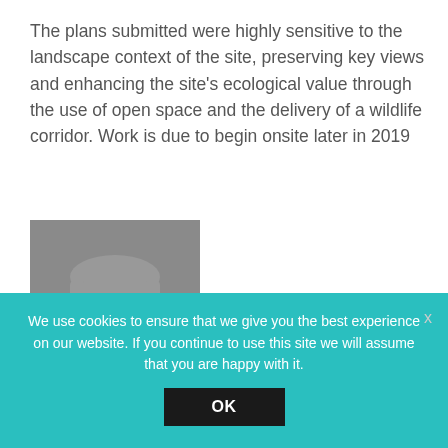The plans submitted were highly sensitive to the landscape context of the site, preserving key views and enhancing the site's ecological value through the use of open space and the delivery of a wildlife corridor. Work is due to begin onsite later in 2019
[Figure (photo): Headshot photo of a middle-aged man with grey hair and glasses, wearing a white shirt, against a grey background]
We use cookies to ensure that we give you the best experience on our website. If you continue to use this site we will assume that you are happy with it.